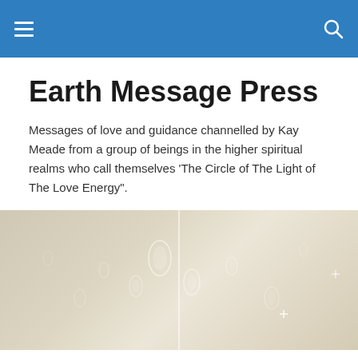Earth Message Press — navigation header
Earth Message Press
Messages of love and guidance channelled by Kay Meade from a group of beings in the higher spiritual realms who call themselves 'The Circle of The Light of The Love Energy".
[Figure (illustration): Decorative banner image with water droplets on a beige/tan background with sparkling light effects]
TAGGED WITH THEOLOGY
“Release yourselves” – channelled message from The